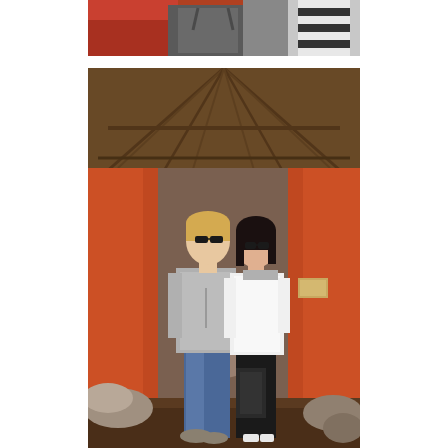[Figure (photo): Partial cropped photo showing the bottom portion of people sitting, with striped socks visible on the right side and a gray backpack or bag in the center, and what appears to be a red vehicle or equipment on the left.]
[Figure (photo): A couple standing inside a traditional African thatched-roof structure with wooden beams. The man on the left has blonde hair, sunglasses, and wears a gray hoodie with blue jeans. The woman on the right has dark hair, sunglasses, and wears a white jacket with black pants. The interior walls are orange/red clay and there are rocks and artifacts visible in the background.]